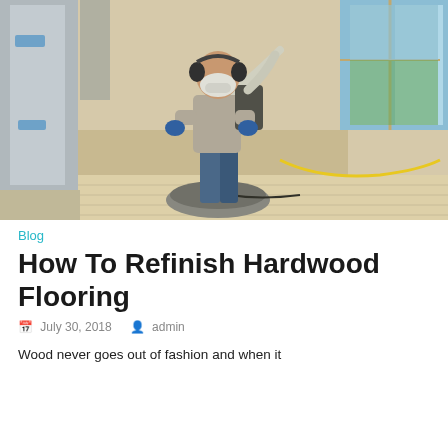[Figure (photo): Worker in a room using a floor sanding/buffing machine on light hardwood floors, wearing a respirator mask and backpack dust collector, with plastic sheeting on furniture in the background and windows showing a green outdoor view.]
Blog
How To Refinish Hardwood Flooring
July 30, 2018   admin
Wood never goes out of fashion and when it